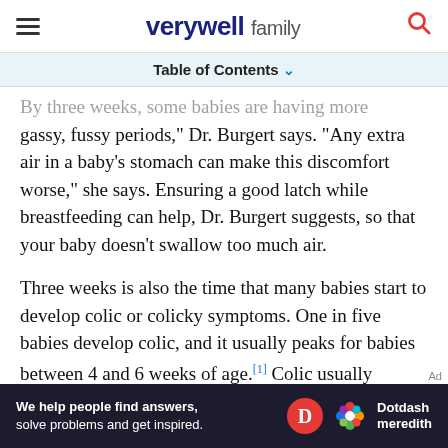verywell family
Table of Contents
By three weeks, some babies are having more gassy, fussy periods," Dr. Burgert says. "Any extra air in a baby's stomach can make this discomfort worse," she says. Ensuring a good latch while breastfeeding can help, Dr. Burgert suggests, so that your baby doesn't swallow too much air.
Three weeks is also the time that many babies start to develop colic or colicky symptoms. One in five babies develop colic, and it usually peaks for babies between 4 and 6 weeks of age.[1] Colic usually involves periods of inconsolable crying, usually during the evening, and can be very
[Figure (other): Dotdash Meredith advertisement banner: 'We help people find answers, solve problems and get inspired.' with Dotdash Meredith logo]